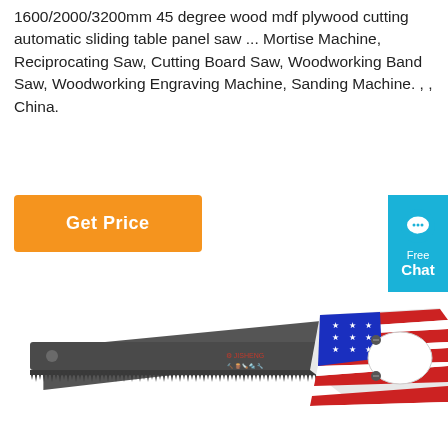1600/2000/3200mm 45 degree wood mdf plywood cutting automatic sliding table panel saw ... Mortise Machine, Reciprocating Saw, Cutting Board Saw, Woodworking Band Saw, Woodworking Engraving Machine, Sanding Machine. , , China.
[Figure (other): Orange 'Get Price' button]
[Figure (other): Blue chat widget with speech bubble icon, 'Free Chat' text]
[Figure (photo): A hand saw with a dark grey serrated blade and an American flag-themed red, white and blue handle with stars, shown diagonally]